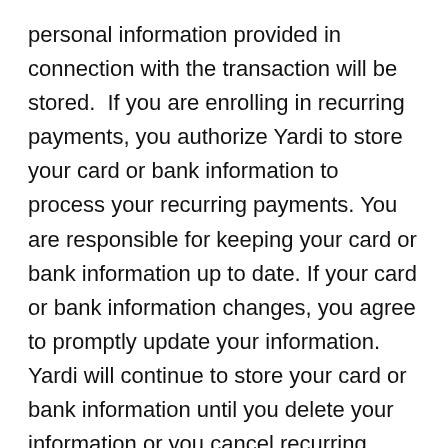personal information provided in connection with the transaction will be stored.  If you are enrolling in recurring payments, you authorize Yardi to store your card or bank information to process your recurring payments. You are responsible for keeping your card or bank information up to date. If your card or bank information changes, you agree to promptly update your information. Yardi will continue to store your card or bank information until you delete your information or you cancel recurring payments.  For more information about how we store and use your card, bank or other personal information, please see our Privacy Policy.
6.6	Electronic Signatures.  If you choose to use the electronic signature execution functionality of